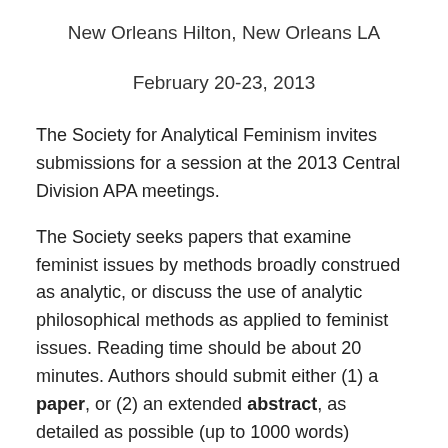New Orleans Hilton, New Orleans LA
February 20-23, 2013
The Society for Analytical Feminism invites submissions for a session at the 2013 Central Division APA meetings.
The Society seeks papers that examine feminist issues by methods broadly construed as analytic, or discuss the use of analytic philosophical methods as applied to feminist issues. Reading time should be about 20 minutes. Authors should submit either (1) a paper, or (2) an extended abstract, as detailed as possible (up to 1000 words) accompanied by a bibliography. Please delete all self-identifying references from your submission to ensure anonymity.